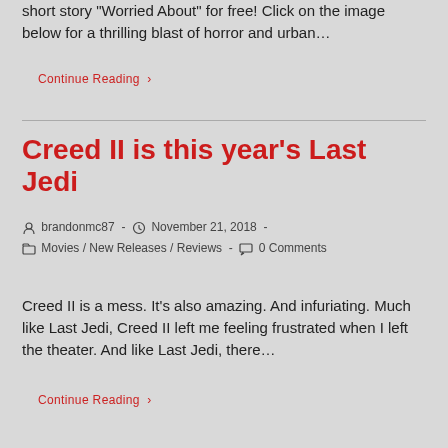short story "Worried About" for free! Click on the image below for a thrilling blast of horror and urban…
Continue Reading ›
Creed II is this year's Last Jedi
brandonmc87  ·  November 21, 2018  ·  Movies / New Releases / Reviews  ·  0 Comments
Creed II is a mess. It's also amazing. And infuriating. Much like Last Jedi, Creed II left me feeling frustrated when I left the theater. And like Last Jedi, there…
Continue Reading ›